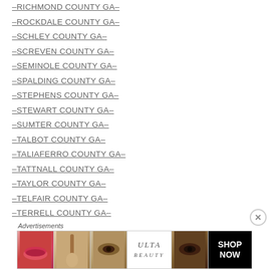–RICHMOND COUNTY GA–
–ROCKDALE COUNTY GA–
–SCHLEY COUNTY GA–
–SCREVEN COUNTY GA–
–SEMINOLE COUNTY GA–
–SPALDING COUNTY GA–
–STEPHENS COUNTY GA–
–STEWART COUNTY GA–
–SUMTER COUNTY GA–
–TALBOT COUNTY GA–
–TALIAFERRO COUNTY GA–
–TATTNALL COUNTY GA–
–TAYLOR COUNTY GA–
–TELFAIR COUNTY GA–
–TERRELL COUNTY GA–
–THOMAS COUNTY GA–
[Figure (advertisement): ULTA Beauty advertisement banner with makeup images and SHOP NOW call to action]